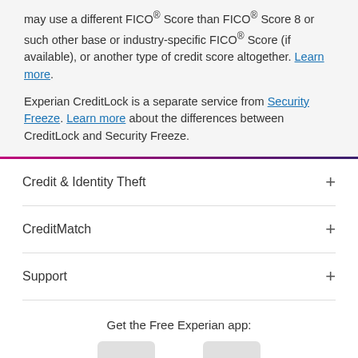may use a different FICO® Score than FICO® Score 8 or such other base or industry-specific FICO® Score (if available), or another type of credit score altogether. Learn more.
Experian CreditLock is a separate service from Security Freeze. Learn more about the differences between CreditLock and Security Freeze.
Credit & Identity Theft
CreditMatch
Support
Get the Free Experian app:
[Figure (other): Two app store badge placeholders (grey rectangles) for downloading the free Experian app]
Experian's Diversity, Equity and Inclusion: